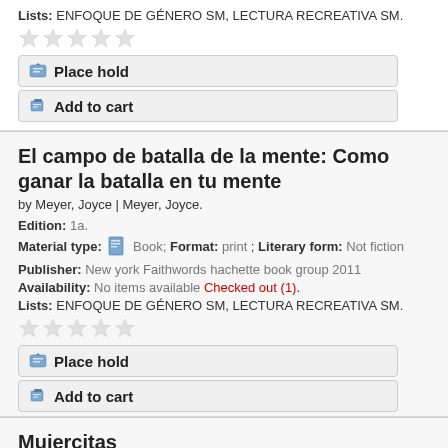Lists: ENFOQUE DE GÉNERO SM, LECTURA RECREATIVA SM.
[Figure (other): Five empty star rating icons]
Place hold
Add to cart
El campo de batalla de la mente: Como ganar la batalla en tu mente
by Meyer, Joyce | Meyer, Joyce.
Edition: 1a.
Material type: Book; Format: print ; Literary form: Not fiction
Publisher: New york Faithwords hachette book group 2011
Availability: No items available Checked out (1).
Lists: ENFOQUE DE GÉNERO SM, LECTURA RECREATIVA SM.
[Figure (other): Five empty star rating icons]
Place hold
Add to cart
Mujercitas
by Alcott, Louisa May | Alcott, Louisa May.
Edition: